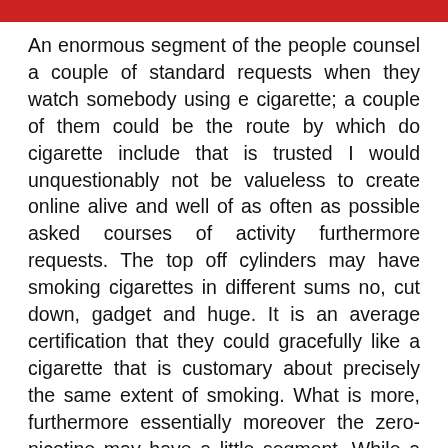[Figure (other): Red horizontal decorative bar at top of page]
An enormous segment of the people counsel a couple of standard requests when they watch somebody using e cigarette; a couple of them could be the route by which do cigarette include that is trusted I would unquestionably not be valueless to create online alive and well of as often as possible asked courses of activity furthermore requests. The top off cylinders may have smoking cigarettes in different sums no, cut down, gadget and huge. It is an average certification that they could gracefully like a cigarette that is customary about precisely the same extent of smoking. What is more, furthermore essentially moreover the zero-nicotine may have a little segment. While a few providers give no nicotine to cartridges regardless the cigarette smokers couldn't care less for complete nonattendance of it so producers need to alter themselves to fit buyers. An atomizer and furthermore a nicotine compartment will unquestionably be the fundamental